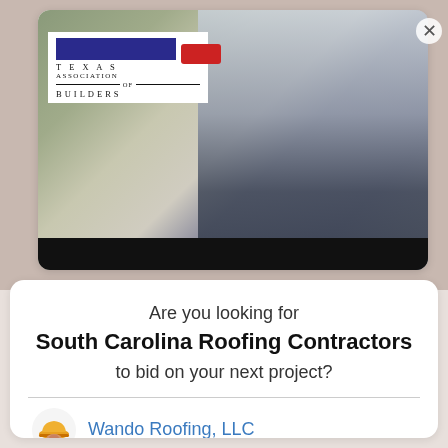[Figure (screenshot): Texas Association of Builders advertisement banner with a man in a blue shirt standing outside a house. Red accent shape visible near top. Black bar at bottom of image.]
Are you looking for
South Carolina Roofing Contractors
to bid on your next project?
Wando Roofing, LLC